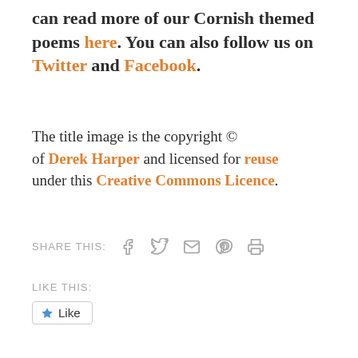can read more of our Cornish themed poems here. You can also follow us on Twitter and Facebook.
The title image is the copyright © of Derek Harper and licensed for reuse under this Creative Commons Licence.
SHARE THIS:
LIKE THIS:
Like